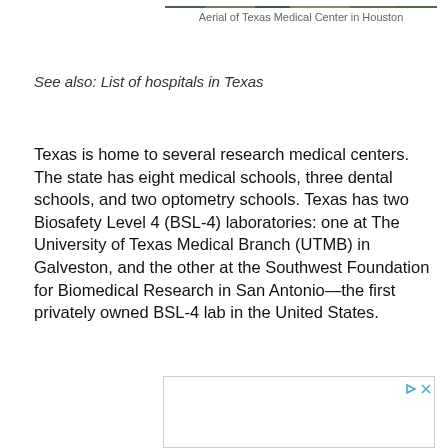[Figure (photo): Aerial photograph of Texas Medical Center in Houston — green treetop canopy visible at top of page]
Aerial of Texas Medical Center in Houston
See also: List of hospitals in Texas
Texas is home to several research medical centers. The state has eight medical schools, three dental schools, and two optometry schools. Texas has two Biosafety Level 4 (BSL-4) laboratories: one at The University of Texas Medical Branch (UTMB) in Galveston, and the other at the Southwest Foundation for Biomedical Research in San Antonio—the first privately owned BSL-4 lab in the United States.
[Figure (other): Advertisement box with play and close icon controls in top-right corner]